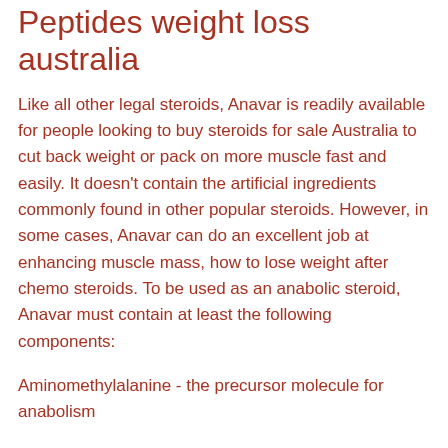Peptides weight loss australia
Like all other legal steroids, Anavar is readily available for people looking to buy steroids for sale Australia to cut back weight or pack on more muscle fast and easily. It doesn't contain the artificial ingredients commonly found in other popular steroids. However, in some cases, Anavar can do an excellent job at enhancing muscle mass, how to lose weight after chemo steroids. To be used as an anabolic steroid, Anavar must contain at least the following components:
Aminomethylalanine - the precursor molecule for anabolism
Carnosine - a source of energy that the body is unable to store and requires each hour to utilize